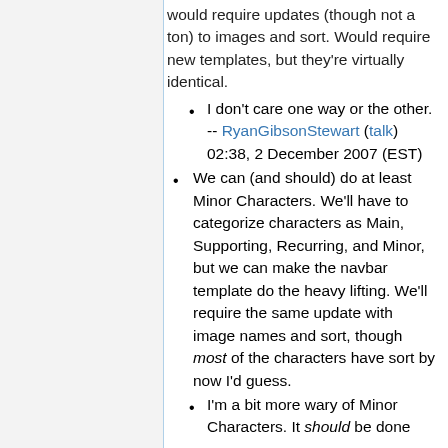would require updates (though not a ton) to images and sort. Would require new templates, but they're virtually identical.
I don't care one way or the other. -- RyanGibsonStewart (talk) 02:38, 2 December 2007 (EST)
We can (and should) do at least Minor Characters. We'll have to categorize characters as Main, Supporting, Recurring, and Minor, but we can make the navbar template do the heavy lifting. We'll require the same update with image names and sort, though most of the characters have sort by now I'd guess.
I'm a bit more wary of Minor Characters. It should be done